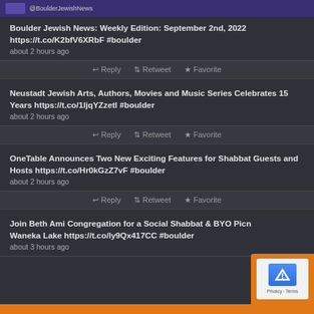@BoulderJewishNews
Boulder Jewish News: Weekly Edition: September 2nd, 2022 https://t.co/K2bfV6XRbF #boulder
about 2 hours ago
Reply  Retweet  Favorite
Neustadt Jewish Arts, Authors, Movies and Music Series Celebrates 15 Years https://t.co/1IjqYZzetI #boulder
about 2 hours ago
Reply  Retweet  Favorite
OneTable Announces Two New Exciting Features for Shabbat Guests and Hosts https://t.co/Hr0kGzZ7vF #boulder
about 2 hours ago
Reply  Retweet  Favorite
Join Beth Ami Congregation for a Social Shabbat & BYO Picnic at Waneka Lake https://t.co/ly9Qx417CC #boulder
about 3 hours ago